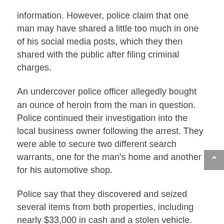information. However, police claim that one man may have shared a little too much in one of his social media posts, which they then shared with the public after filing criminal charges.
An undercover police officer allegedly bought an ounce of heroin from the man in question. Police continued their investigation into the local business owner following the arrest. They were able to secure two different search warrants, one for the man's home and another for his automotive shop.
Police say that they discovered and seized several items from both properties, including nearly $33,000 in cash and a stolen vehicle. Drug paraphernalia in the form of a kilo press and multiple scales with residue from heroin were also found. The officers say they also seized two stolen handguns and several high capacity magazines. Shortly after his arrest, police shared several photos of the